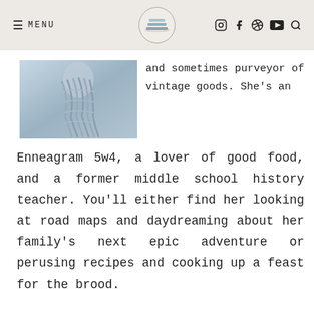≡ MENU  [logo]  [instagram] [facebook] [pinterest] [youtube] [search]
[Figure (photo): A person seen from behind wearing a braided or woven gray/silver garment or hairstyle]
and sometimes purveyor of vintage goods. She's an Enneagram 5w4, a lover of good food, and a former middle school history teacher. You'll either find her looking at road maps and daydreaming about her family's next epic adventure or perusing recipes and cooking up a feast for the brood.